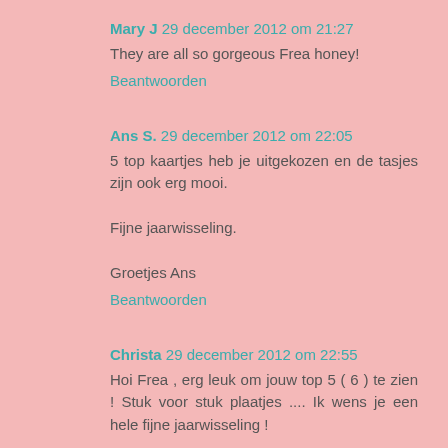Mary J 29 december 2012 om 21:27
They are all so gorgeous Frea honey!
Beantwoorden
Ans S. 29 december 2012 om 22:05
5 top kaartjes heb je uitgekozen en de tasjes zijn ook erg mooi.

Fijne jaarwisseling.

Groetjes Ans
Beantwoorden
Christa 29 december 2012 om 22:55
Hoi Frea , erg leuk om jouw top 5 ( 6 ) te zien ! Stuk voor stuk plaatjes .... Ik wens je een hele fijne jaarwisseling !